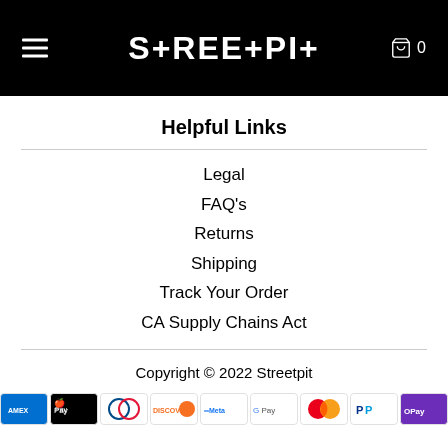STREETPIT — navigation header with hamburger menu and cart icon
Helpful Links
Legal
FAQ's
Returns
Shipping
Track Your Order
CA Supply Chains Act
Copyright © 2022 Streetpit
[Figure (logo): Payment method icons: Amex, Apple Pay, Diners Club, Discover, Meta Pay, Google Pay, Mastercard, PayPal, OPay]